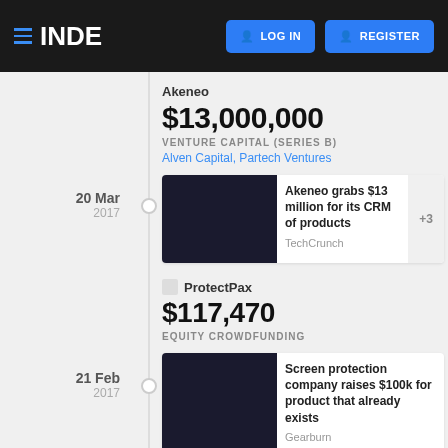INDE | LOG IN | REGISTER
20 Mar 2017
Akeneo
$13,000,000
VENTURE CAPITAL (SERIES B)
Alven Capital, Partech Ventures
Akeneo grabs $13 million for its CRM of products
TechCrunch
+3
21 Feb 2017
ProtectPax
$117,470
EQUITY CROWDFUNDING
Screen protection company raises $100k for product that already exists
Gearburn